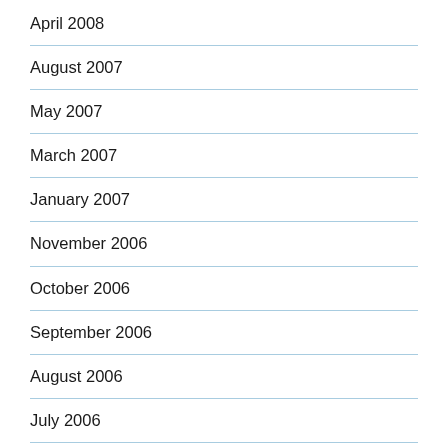April 2008
August 2007
May 2007
March 2007
January 2007
November 2006
October 2006
September 2006
August 2006
July 2006
April 2006